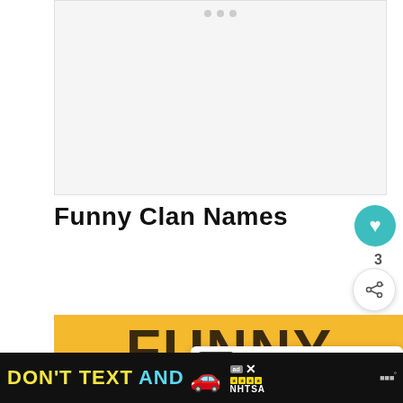[Figure (screenshot): Blank white image placeholder area with navigation dots at top]
Funny Clan Names
[Figure (illustration): Yellow background card with bold dark text reading FUNNY CLAN NAMES in large Impact-style font, two lines]
WHAT'S NEXT → 200+ Creative, unique, and...
[Figure (infographic): Bottom advertisement bar: DON'T TEXT AND [car emoji] ad badge NHTSA with close button and weather icon]